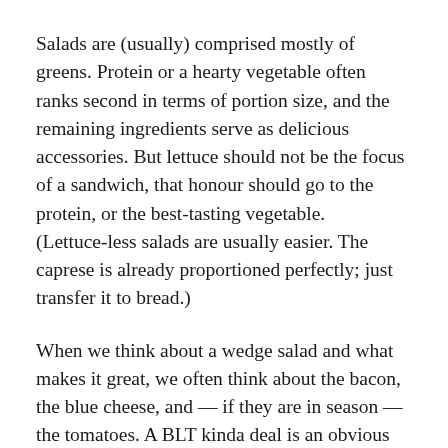Salads are (usually) comprised mostly of greens. Protein or a hearty vegetable often ranks second in terms of portion size, and the remaining ingredients serve as delicious accessories. But lettuce should not be the focus of a sandwich, that honour should go to the protein, or the best-tasting vegetable. (Lettuce-less salads are usually easier. The caprese is already proportioned perfectly; just transfer it to bread.)
When we think about a wedge salad and what makes it great, we often think about the bacon, the blue cheese, and — if they are in season — the tomatoes. A BLT kinda deal is an obvious choice here, with equal respect and space given to the bacon and the tomato (again, if they are in season). Once you have the star(s) of the sandwich identified, turn your attention to the back-up dancers.
Dress your greens